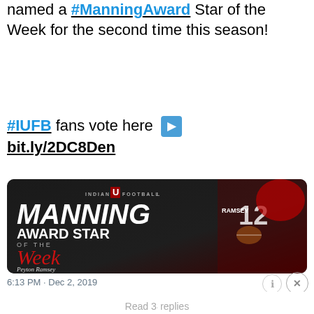named a #ManningAward Star of the Week for the second time this season!
#IUFB fans vote here ➡ bit.ly/2DC8Den
[Figure (photo): Indiana Football Manning Award Star of the Week promotional graphic featuring player #12 Ramsey in red uniform holding a football, on dark background]
6:13 PM · Dec 2, 2019
[Figure (infographic): Bloomingdales advertisement banner: 'View Today's Top Deals!' with SHOP NOW > button and model wearing hat]
Read 3 replies